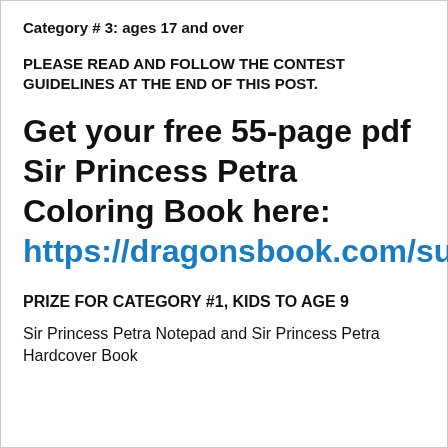Category # 3: ages 17 and over
PLEASE READ AND FOLLOW THE CONTEST GUIDELINES AT THE END OF THIS POST.
Get your free 55-page pdf Sir Princess Petra Coloring Book here: https://dragonsbook.com/subscribe/
PRIZE FOR CATEGORY #1, KIDS TO AGE 9
Sir Princess Petra Notepad and Sir Princess Petra Hardcover Book